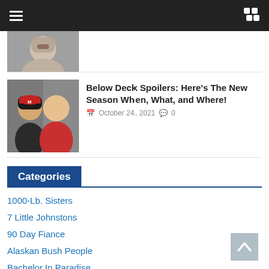Navigation bar with hamburger menu and shuffle icon
[Figure (photo): Partial cropped photo of a man, top portion of article card]
[Figure (photo): Photo of two women smiling, one wearing a red cap with M logo]
Below Deck Spoilers: Here’s The New Season When, What, and Where!
October 24, 2021  0
Categories
1000-Lb. Sisters
7 Little Johnstons
90 Day Fiance
Alaskan Bush People
Bachelor In Paradise